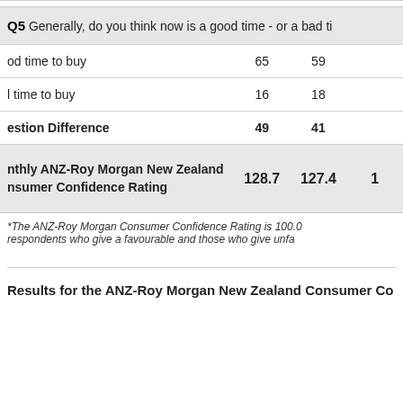| Question | Col1 | Col2 | Col3 |
| --- | --- | --- | --- |
| Q5 Generally, do you think now is a good time - or a bad ti... |  |  |  |
| od time to buy | 65 | 59 |  |
| l time to buy | 16 | 18 |  |
| estion Difference | 49 | 41 |  |
| nthly ANZ-Roy Morgan New Zealand nsumer Confidence Rating | 128.7 | 127.4 | 1 |
*The ANZ-Roy Morgan Consumer Confidence Rating is 100.0... respondents who give a favourable and those who give unfa...
Results for the ANZ-Roy Morgan New Zealand Consumer Co...